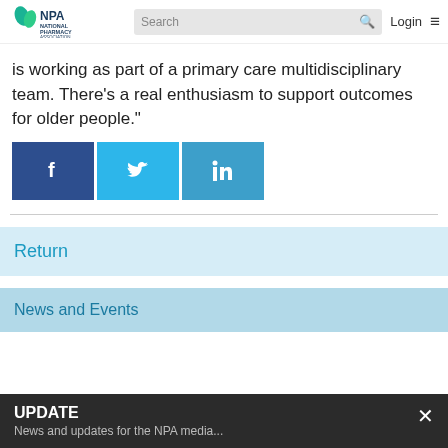NPA National Pharmacy Association | Search | Login
is working as part of a primary care multidisciplinary team. There's a real enthusiasm to support outcomes for older people."
[Figure (other): Social sharing buttons: Facebook (dark blue), Twitter (light blue), LinkedIn (blue)]
Return
News and Events
UPDATE
News and updates for the NPA media...